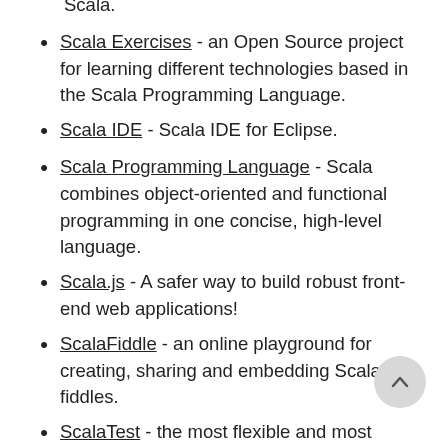Scala.
Scala Exercises - an Open Source project for learning different technologies based in the Scala Programming Language.
Scala IDE - Scala IDE for Eclipse.
Scala Programming Language - Scala combines object-oriented and functional programming in one concise, high-level language.
Scala.js - A safer way to build robust front-end web applications!
ScalaFiddle - an online playground for creating, sharing and embedding Scala fiddles.
ScalaTest - the most flexible and most popular testing tool in the Scala ecosystem.
ScalaUA - Ukrainian Scala Conference